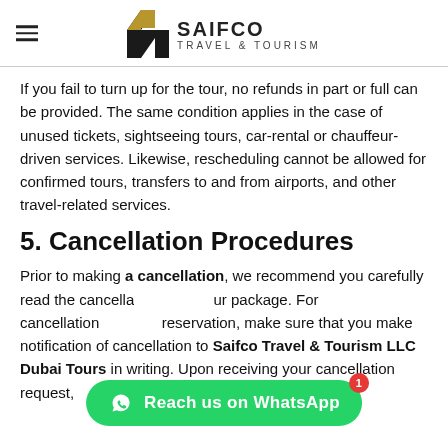SAIFCO TRAVEL & TOURISM
If you fail to turn up for the tour, no refunds in part or full can be provided. The same condition applies in the case of unused tickets, sightseeing tours, car-rental or chauffeur-driven services. Likewise, rescheduling cannot be allowed for confirmed tours, transfers to and from airports, and other travel-related services.
5. Cancellation Procedures
Prior to making a cancellation, we recommend you carefully read the cancellation policy of your package. For cancellation of your booking or reservation, make sure that you make notification of cancellation to Saifco Travel & Tourism LLC Dubai Tours in writing. Upon receiving your cancellation request,
[Figure (other): WhatsApp reach-us button overlay with badge showing 1 unread message]